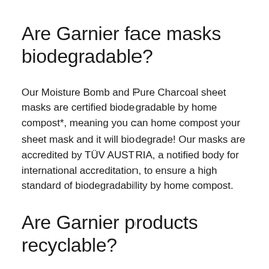Are Garnier face masks biodegradable?
Our Moisture Bomb and Pure Charcoal sheet masks are certified biodegradable by home compost*, meaning you can home compost your sheet mask and it will biodegrade! Our masks are accredited by TÜV AUSTRIA, a notified body for international accreditation, to ensure a high standard of biodegradability by home compost.
Are Garnier products recyclable?